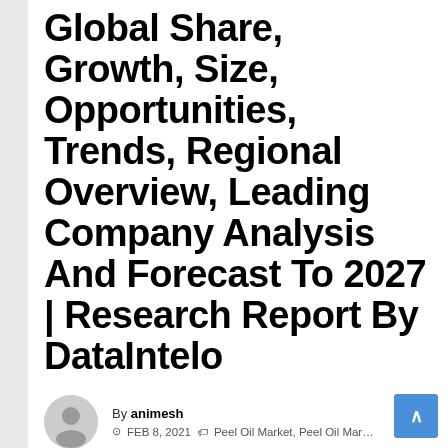Global Share, Growth, Size, Opportunities, Trends, Regional Overview, Leading Company Analysis And Forecast To 2027 | Research Report By DataIntelo
By animesh
FEB 8, 2021  Peel Oil Market, Peel Oil Market analysis, Peel Oil Market forecast, Peel Oil Market